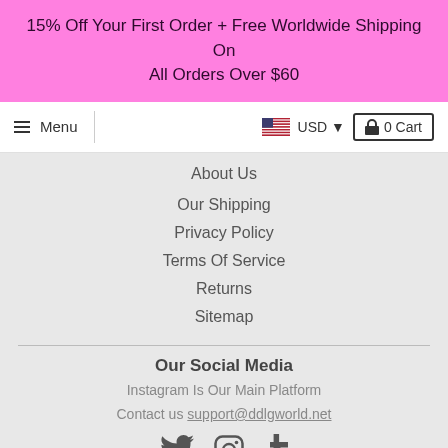15% Off Your First Order + Free Worldwide Shipping On All Orders Over $60
Menu
USD
0 Cart
About Us
Our Shipping
Privacy Policy
Terms Of Service
Returns
Sitemap
Our Social Media
Instagram Is Our Main Platform
Contact us support@ddlgworld.net